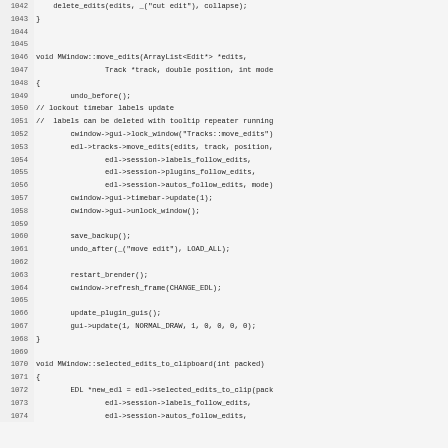[Figure (other): Source code listing in C++, lines 1042-1074, showing MWindow::move_edits and MWindow::selected_edits_to_clipboard function implementations]